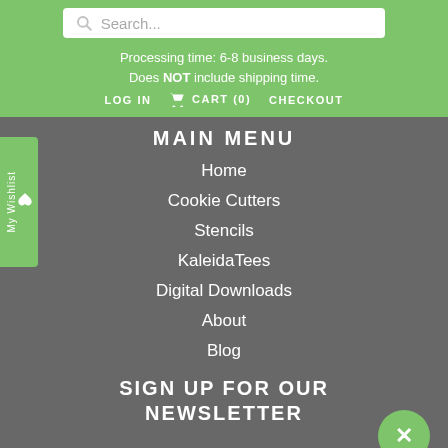[Figure (screenshot): Search bar input field with magnifying glass icon and placeholder text 'Search...' on white background]
Processing time: 6-8 business days. Does NOT include shipping time.
LOG IN   CART (0)   CHECKOUT
MAIN MENU
Home
Cookie Cutters
Stencils
KaleidaTees
Digital Downloads
About
Blog
SIGN UP FOR OUR NEWSLETTER